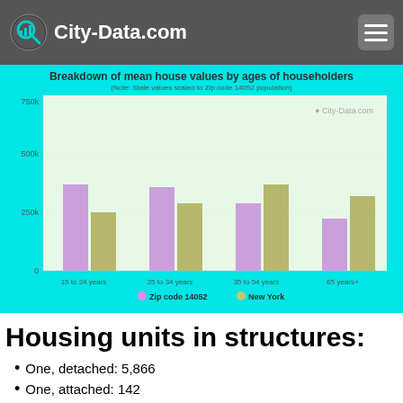City-Data.com
[Figure (grouped-bar-chart): Breakdown of mean house values by ages of householders]
Housing units in structures:
One, detached: 5,866
One, attached: 142
Two: 476
3 or 4: 187
5 to 9: 302
10 to 19: 71